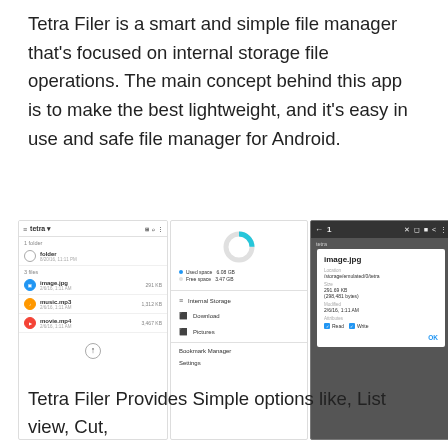Tetra Filer is a smart and simple file manager that's focused on internal storage file operations. The main concept behind this app is to make the best lightweight, and it's easy in use and safe file manager for Android.
[Figure (screenshot): Three Android app screenshots of Tetra Filer: (1) main file list screen showing folder and files (image.jpg, music.mp3, movie.mp4), (2) navigation drawer with storage options (Internal Storage, Download, Pictures, Bookmark Manager, Settings) and a donut chart showing used/free space, (3) file properties dialog for image.jpg showing location, size, modified date, and attributes.]
Tetra Filer Provides Simple options like, List view, Cut,